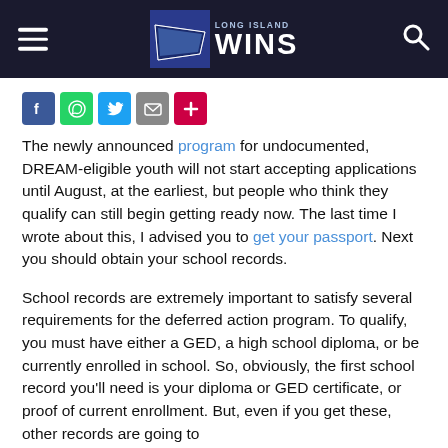LONG ISLAND WINS
[Figure (other): Social sharing icons: Facebook, WhatsApp, Twitter, Email, More]
The newly announced program for undocumented, DREAM-eligible youth will not start accepting applications until August, at the earliest, but people who think they qualify can still begin getting ready now. The last time I wrote about this, I advised you to get your passport. Next you should obtain your school records.
School records are extremely important to satisfy several requirements for the deferred action program. To qualify, you must have either a GED, a high school diploma, or be currently enrolled in school. So, obviously, the first school record you'll need is your diploma or GED certificate, or proof of current enrollment. But, even if you get these, other records are going to